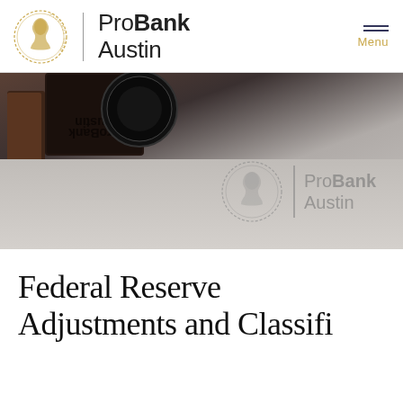[Figure (logo): ProBank Austin logo with circular coin medallion and wordmark]
[Figure (photo): Rubber stamp with ProBank Austin branding, showing mirrored stamp text and circular medallion, with embossed logo impression on paper surface]
Federal Reserve Adjustments and Classifi…